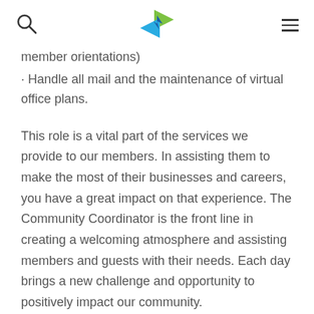[search icon] [logo] [menu icon]
member orientations)
· Handle all mail and the maintenance of virtual office plans.
This role is a vital part of the services we provide to our members. In assisting them to make the most of their businesses and careers, you have a great impact on that experience. The Community Coordinator is the front line in creating a welcoming atmosphere and assisting members and guests with their needs. Each day brings a new challenge and opportunity to positively impact our community.